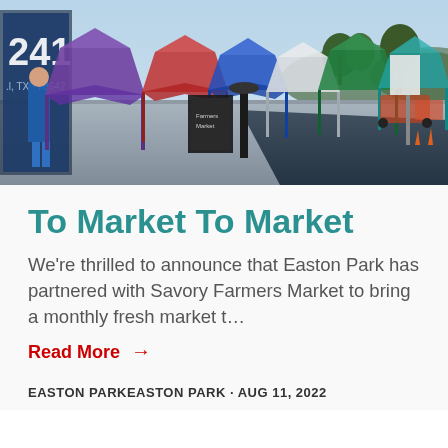[Figure (photo): Outdoor farmers market scene with colorful pop-up tents (purple, red, blue, green) lining a paved parking lot area on a sunny day. Signs and vendors visible. Number 241 and text 'TX 78642' partially visible on the left side.]
To Market To Market
We're thrilled to announce that Easton Park has partnered with Savory Farmers Market to bring a monthly fresh market t…
Read More →
EASTON PARKEASTON PARK · AUG 11, 2022